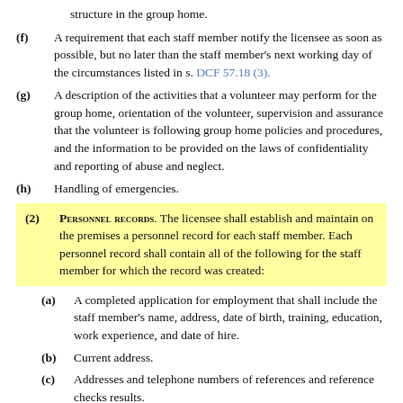structure in the group home.
(f) A requirement that each staff member notify the licensee as soon as possible, but no later than the staff member's next working day of the circumstances listed in s. DCF 57.18 (3).
(g) A description of the activities that a volunteer may perform for the group home, orientation of the volunteer, supervision and assurance that the volunteer is following group home policies and procedures, and the information to be provided on the laws of confidentiality and reporting of abuse and neglect.
(h) Handling of emergencies.
(2) PERSONNEL RECORDS. The licensee shall establish and maintain on the premises a personnel record for each staff member. Each personnel record shall contain all of the following for the staff member for which the record was created:
(a) A completed application for employment that shall include the staff member's name, address, date of birth, training, education, work experience, and date of hire.
(b) Current address.
(c) Addresses and telephone numbers of references and reference checks results.
(d) A completed and current background information disclosure form.